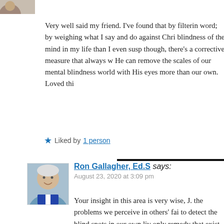[Figure (photo): Small profile avatar photo partially visible at top left corner]
Very well said my friend. I've found that by filtering my word; by weighing what I say and do against Chris blindness of the mind in my life than I even susp though, there's a corrective measure that always w He can remove the scales of our mental blindness world with His eyes more than our own. Loved thi
★ Liked by 1 person
[Figure (photo): Profile photo of Ron Gallagher, an older man with white/grey hair, smiling, wearing a suit]
Ron Gallagher, Ed.S says:
August 23, 2020 at 3:09 pm

Your insight in this area is very wise, J. the problems we perceive in others' fai to detect the blind spots in our own liv only remedy that exist foe any of us. Go another spot on and encouraging note.